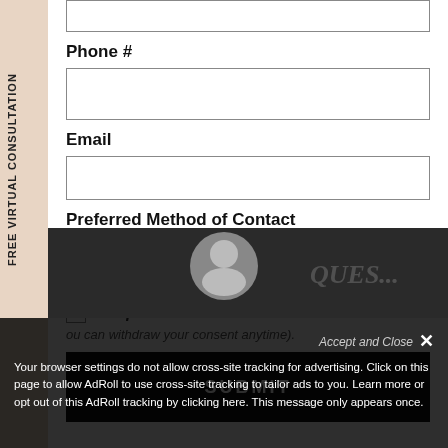Phone #
Email
Preferred Method of Contact
mail/Text me discount offers from Skin Vitality.
Yes please!
ou can withdraw your consent anytime).
SUBMIT
FREE VIRTUAL CONSULTATION
Your browser settings do not allow cross-site tracking for advertising. Click on this page to allow AdRoll to use cross-site tracking to tailor ads to you. Learn more or opt out of this AdRoll tracking by clicking here. This message only appears once.